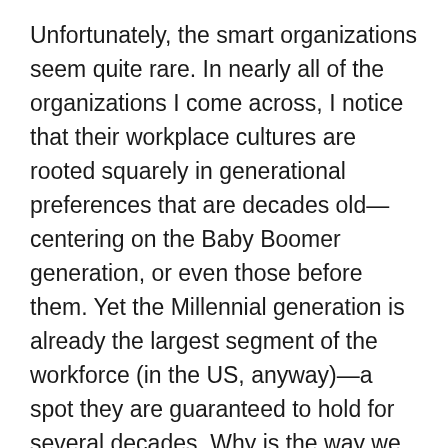Unfortunately, the smart organizations seem quite rare. In nearly all of the organizations I come across, I notice that their workplace cultures are rooted squarely in generational preferences that are decades old—centering on the Baby Boomer generation, or even those before them. Yet the Millennial generation is already the largest segment of the workforce (in the US, anyway)—a spot they are guaranteed to hold for several decades. Why is the way we run our organizations failing to adapt with the new generations?
Take the issue of workplace culture, for instance. Most organizations consider culture to be something of a "luxury." That is, they only pay attention to it if they have time, and when they do, they focus on making changes around the edges—better